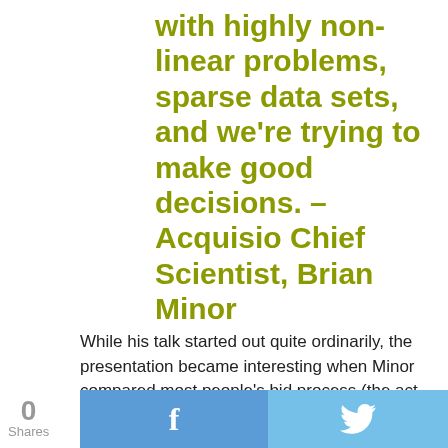with highly non-linear problems, sparse data sets, and we're trying to make good decisions. – Acquisio Chief Scientist, Brian Minor
While his talk started out quite ordinarily, the presentation became interesting when Minor compared most people's bid process (the act of determining how much you're willing to spend to serve ads on a specific platform and how frequently the bid gets updated during a given time period) wi
0 Shares